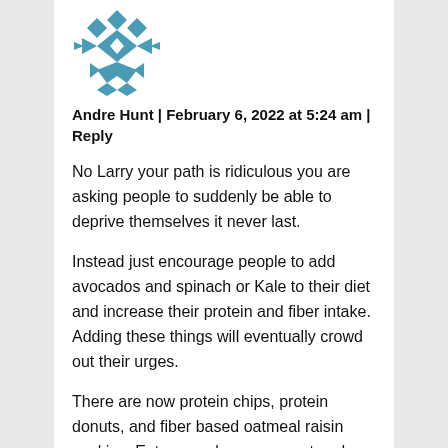[Figure (logo): Teal/blue geometric snowflake-style avatar icon]
Andre Hunt | February 6, 2022 at 5:24 am | Reply
No Larry your path is ridiculous you are asking people to suddenly be able to deprive themselves it never last.
Instead just encourage people to add avocados and spinach or Kale to their diet and increase their protein and fiber intake. Adding these things will eventually crowd out their urges.
There are now protein chips, protein donuts, and fiber based oatmeal raisin cookies. Eat as much as you want and